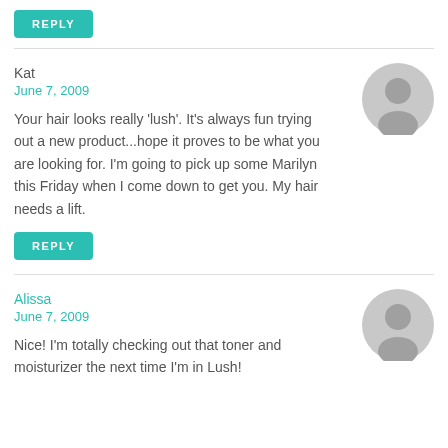REPLY
Kat
June 7, 2009
Your hair looks really 'lush'. It's always fun trying out a new product...hope it proves to be what you are looking for. I'm going to pick up some Marilyn this Friday when I come down to get you. My hair needs a lift.
REPLY
Alissa
June 7, 2009
Nice! I'm totally checking out that toner and moisturizer the next time I'm in Lush!